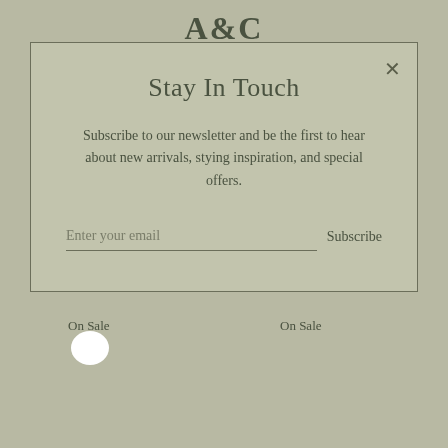A&C
Stay In Touch
Subscribe to our newsletter and be the first to hear about new arrivals, stying inspiration, and special offers.
Enter your email   Subscribe
On Sale
On Sale
[Figure (illustration): White speech bubble / chat icon]